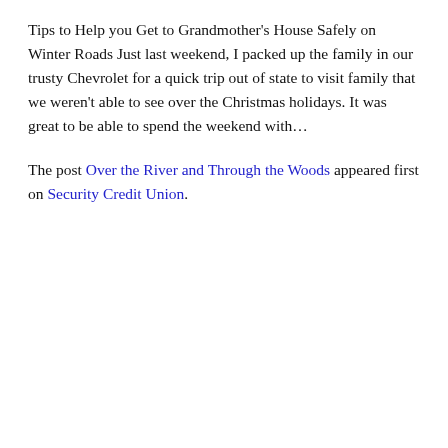Tips to Help you Get to Grandmother's House Safely on Winter Roads Just last weekend, I packed up the family in our trusty Chevrolet for a quick trip out of state to visit family that we weren't able to see over the Christmas holidays. It was great to be able to spend the weekend with…
The post Over the River and Through the Woods appeared first on Security Credit Union.